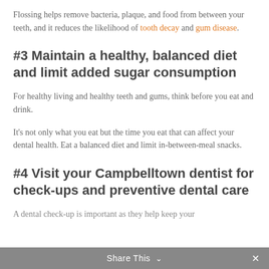Flossing helps remove bacteria, plaque, and food from between your teeth, and it reduces the likelihood of tooth decay and gum disease.
#3 Maintain a healthy, balanced diet and limit added sugar consumption
For healthy living and healthy teeth and gums, think before you eat and drink.
It's not only what you eat but the time you eat that can affect your dental health. Eat a balanced diet and limit in-between-meal snacks.
#4 Visit your Campbelltown dentist for check-ups and preventive dental care
A dental check-up is important as they help keep your
Share This ∨  ✕